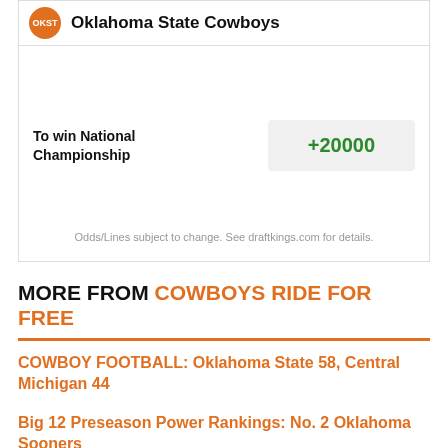Oklahoma State Cowboys
| Market | Odds |
| --- | --- |
| To win National Championship | +20000 |
Odds/Lines subject to change. See draftkings.com for details.
MORE FROM COWBOYS RIDE FOR FREE
COWBOY FOOTBALL: Oklahoma State 58, Central Michigan 44
Big 12 Preseason Power Rankings: No. 2 Oklahoma Sooners